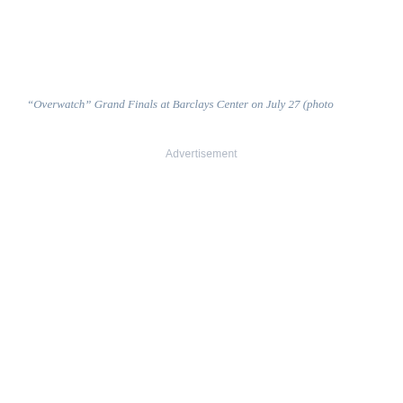“Overwatch” Grand Finals at Barclays Center on July 27 (photo
Advertisement